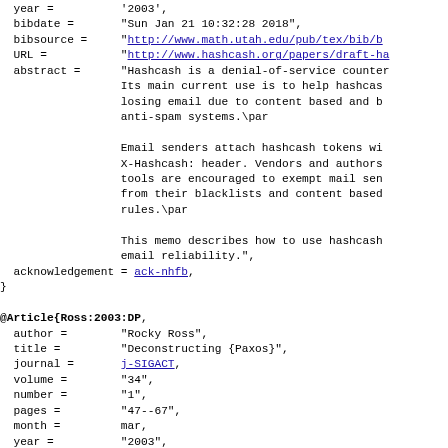BibTeX code block showing bibliographic entries including bibdate, bibsource, URL, abstract fields for a hashcash entry, and @Article{Ross:2003:DP with author, title, journal, volume, number, pages, month, year, CODEN, DOI fields